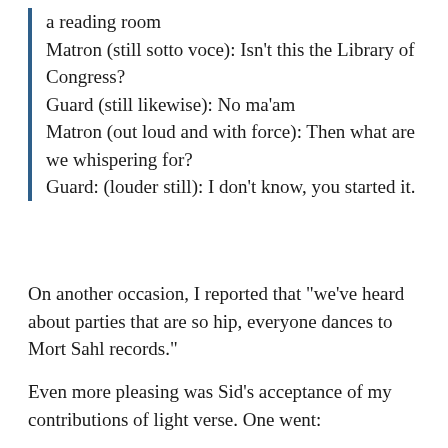a reading room
Matron (still sotto voce): Isn’t this the Library of Congress?
Guard (still likewise): No ma’am
Matron (out loud and with force): Then what are we whispering for?
Guard: (louder still): I don’t know, you started it.
On another occasion, I reported that “we’ve heard about parties that are so hip, everyone dances to Mort Sahl records.”
Even more pleasing was Sid’s acceptance of my contributions of light verse. One went: